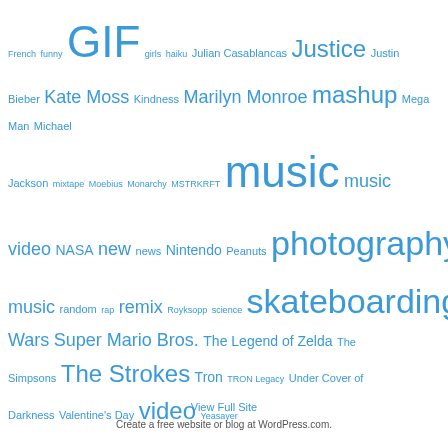[Figure (infographic): Tag cloud with various topics in different font sizes, all in blue color. Tags include: French, funny, GIF, girls, haiku, Julian Casablancas, Justice, Justin Bieber, Kate Moss, Kindness, Marilyn Monroe, mashup, Mega Man, Michael Jackson, mixtape, Moebius, Monarchy, MSTRKRFT, music, music video, NASA, new, news, Nintendo, Peanuts, photography, pictures, poetry, RAC, rad, Radiohead, rad music, random, rap, remix, Royksopp, science, skateboarding, space, Star Wars, Super Mario Bros., The Legend of Zelda, The Simpsons, The Strokes, Tron, TRON Legacy, Under Cover of Darkness, Valentine's Day, video, Yeasayer]
View Full Site
Create a free website or blog at WordPress.com.